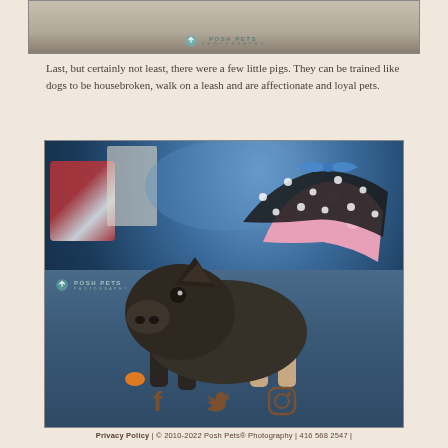[Figure (photo): Top strip of a photo with Posh Pets Photography watermark, showing a blurred background scene]
Last, but certainly not least, there were a few little pigs. They can be trained like dogs to be housebroken, walk on a leash and are affectionate and loyal pets.
[Figure (photo): A small black micro pig wearing a polka dot and floral dress/outfit, sniffing or eating something orange on a blue carpet. Posh Pets Photography watermark visible.]
[Figure (other): Social media icons: Facebook, Twitter (bird), Instagram]
Privacy Policy | © 2010-2022 Posh Pets® Photography | 416 568 2547 |